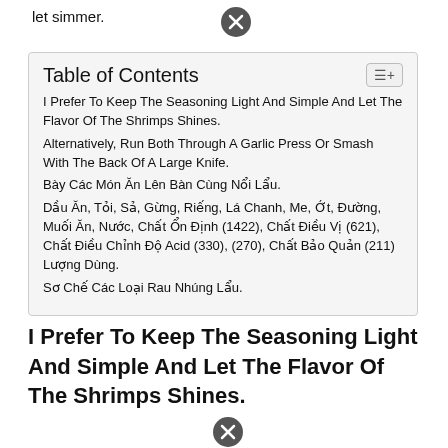let simmer.
| Table of Contents |
| --- |
| I Prefer To Keep The Seasoning Light And Simple And Let The Flavor Of The Shrimps Shines. |
| Alternatively, Run Both Through A Garlic Press Or Smash With The Back Of A Large Knife. |
| Bày Các Món Ăn Lên Bàn Cùng Nổi Lẩu. |
| Dầu Ăn, Tỏi, Sả, Gừng, Riếng, Lá Chanh, Me, Ớt, Đường, Muối Ăn, Nước, Chất Ổn Định (1422), Chất Điều Vị (621), Chất Điều Chỉnh Độ Acid (330), (270), Chất Bảo Quản (211) Lượng Dùng. |
| Sơ Chế Các Loại Rau Nhúng Lẩu. |
I Prefer To Keep The Seasoning Light And Simple And Let The Flavor Of The Shrimps Shines.